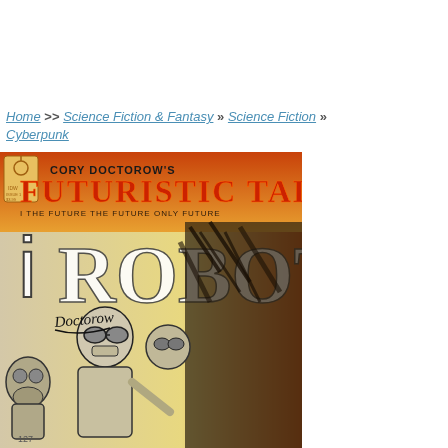Home >> Science Fiction & Fantasy » Science Fiction » Cyberpunk
[Figure (illustration): Book cover of 'Cory Doctorow's Futuristic Tales - I Robot', showing robot and human figures in black and white sketch style with orange/red header text and a signature reading 'Doctorow']